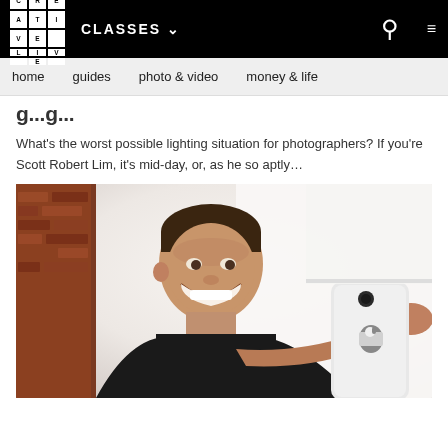CREATIVE LIVE | CLASSES | [search] | [menu]
home   guides   photo & video   money & life
...g...g...
What's the worst possible lighting situation for photographers? If you're Scott Robert Lim, it's mid-day, or, as he so aptly...
[Figure (photo): A smiling man in a black t-shirt holding an iPhone (showing the back with Apple logo) toward the camera in a selfie-taking pose. Background shows brick wall and bright white/light interior space.]